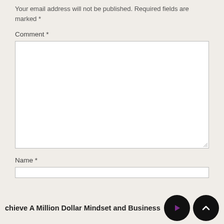Your email address will not be published. Required fields are marked *
Comment *
[Figure (other): Empty comment textarea input box]
Name *
[Figure (other): Name text input field (partially visible)]
chieve A Million Dollar Mindset and Business w [play button] [scroll to top button]